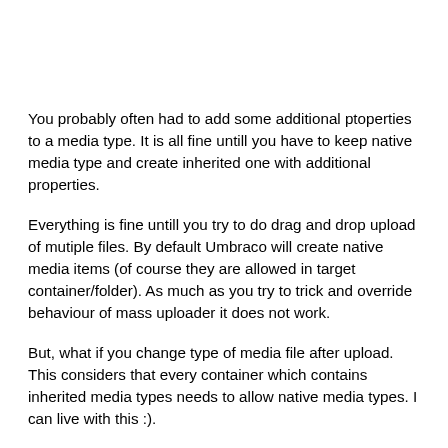You probably often had to add some additional ptoperties to a media type. It is all fine untill you have to keep native media type and create inherited one with additional properties.
Everything is fine untill you try to do drag and drop upload of mutiple files. By default Umbraco will create native media items (of course they are allowed in target container/folder). As much as you try to trick and override behaviour of mass uploader it does not work.
But, what if you change type of media file after upload. This considers that every container which contains inherited media types needs to allow native media types. I can live with this :).
This solution is based that in custom ApplicationHandler we handle MediaService.Saved event and than we change created item from native to our inherited type.